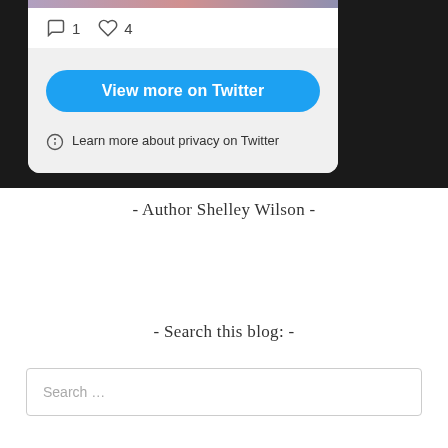[Figure (screenshot): Twitter embedded widget showing comment icon with count 1, heart icon with count 4, a blue 'View more on Twitter' button, and a privacy info row saying 'Learn more about privacy on Twitter']
- Author Shelley Wilson -
- Search this blog: -
Search …